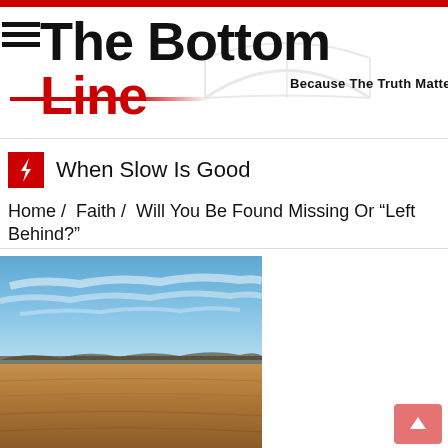The Bottom Line — Because The Truth Matters
When Slow Is Good
Home / Faith / Will You Be Found Missing Or "Left Behind?"
[Figure (photo): Wide open flat agricultural field under a blue sky with wispy clouds and a treeline on the horizon, dry brown grass covering the ground.]
[Figure (other): Scroll-to-top button with upward arrow, pink/red color, bottom right corner.]